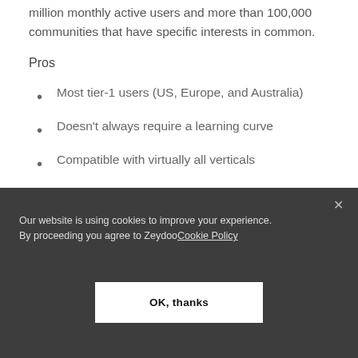million monthly active users and more than 100,000 communities that have specific interests in common.
Pros
Most tier-1 users (US, Europe, and Australia)
Doesn't always require a learning curve
Compatible with virtually all verticals
[Figure (screenshot): Cookie consent banner with dark background reading 'Our website is using cookies to improve your experience. By proceeding you agree to Zeydoo Cookie Policy' with an 'OK, thanks' button]
goods, and similar products. Moreover,